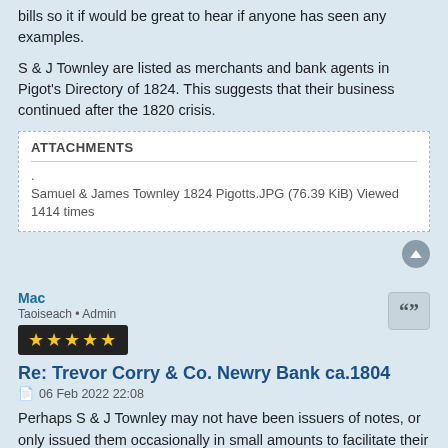bills so it if would be great to hear if anyone has seen any examples.
S & J Townley are listed as merchants and bank agents in Pigot's Directory of 1824. This suggests that their business continued after the 1820 crisis.
| ATTACHMENTS |
| --- |
| Samuel & James Townley 1824 Pigotts.JPG (76.39 KiB) Viewed 1414 times |
Mac
Taoiseach • Admin
Re: Trevor Corry & Co. Newry Bank ca.1804
06 Feb 2022 22:08
Perhaps S & J Townley may not have been issuers of notes, or only issued them occasionally in small amounts to facilitate their own cash flow, leaving the 1820 crisis having minimal effect on them.
8 posts • Page 1 of 1